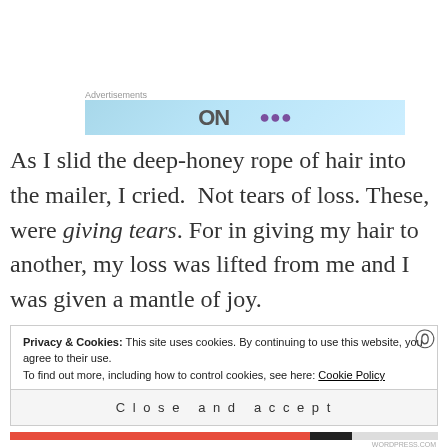[Figure (other): Advertisement banner with light blue background showing partial text 'ON' and decorative elements]
As I slid the deep-honey rope of hair into the mailer, I cried. Not tears of loss. These, were giving tears. For in giving my hair to another, my loss was lifted from me and I was given a mantle of joy.
Privacy & Cookies: This site uses cookies. By continuing to use this website, you agree to their use.
To find out more, including how to control cookies, see here: Cookie Policy
Close and accept